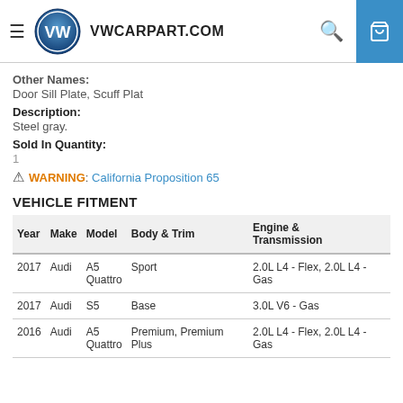VWCARPART.COM
Other Names:
Door Sill Plate, Scuff Plat
Description:
Steel gray.
Sold In Quantity:
1
WARNING: California Proposition 65
VEHICLE FITMENT
| Year | Make | Model | Body & Trim | Engine & Transmission |
| --- | --- | --- | --- | --- |
| 2017 | Audi | A5 Quattro | Sport | 2.0L L4 - Flex, 2.0L L4 - Gas |
| 2017 | Audi | S5 | Base | 3.0L V6 - Gas |
| 2016 | Audi | A5 Quattro | Premium, Premium Plus | 2.0L L4 - Flex, 2.0L L4 - Gas |